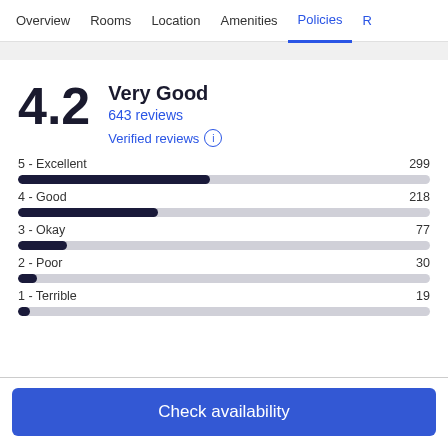Overview  Rooms  Location  Amenities  Policies  R
4.2  Very Good
643 reviews
Verified reviews ⓘ
[Figure (bar-chart): Review ratings distribution]
Check availability